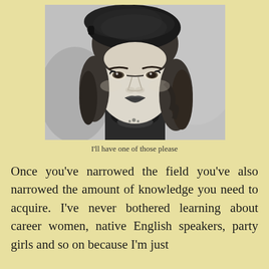[Figure (photo): Black and white portrait photograph of a young woman wearing a knitted beret/hat, with wavy hair and a serious expression, wearing a dark top with a necklace.]
I'll have one of those please
Once you've narrowed the field you've also narrowed the amount of knowledge you need to acquire. I've never bothered learning about career women, native English speakers, party girls and so on because I'm just